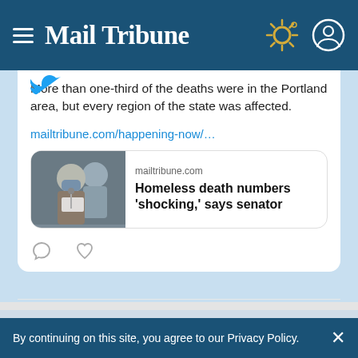Mail Tribune
More than one-third of the deaths were in the Portland area, but every region of the state was affected.
mailtribune.com/happening-now/…
[Figure (screenshot): Article preview card showing a photo of a masked person at a podium, with text: mailtribune.com — Homeless death numbers 'shocking,' says senator]
Mail Tribune @mailtribune · 1h
By continuing on this site, you agree to our Privacy Policy.